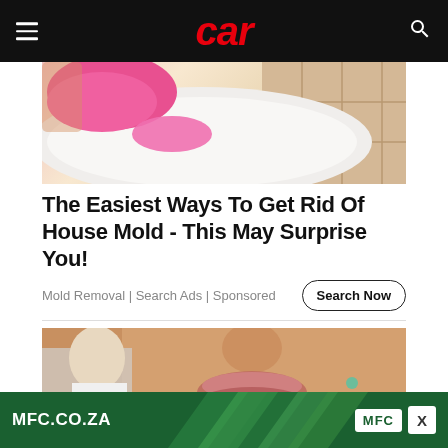car
[Figure (photo): Person wearing pink rubber gloves cleaning a white bathtub or sink, with tiled floor visible]
The Easiest Ways To Get Rid Of House Mold - This May Surprise You!
Mold Removal | Search Ads | Sponsored
[Figure (photo): Close-up of a woman's face focusing on lips, with a man in background]
MFC.CO.ZA